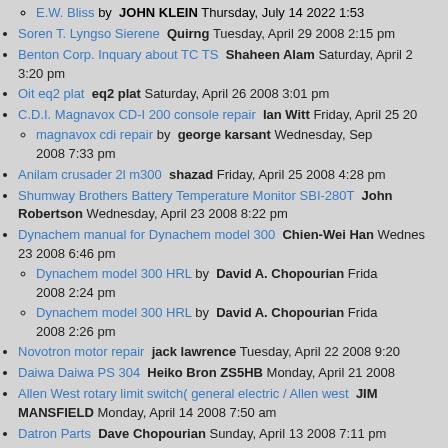E.W. Bliss by JOHN KLEIN Thursday, July 14 2022 1:53
Soren T. Lyngso Sierene Quirng Tuesday, April 29 2008 2:15 pm
Benton Corp. Inquary about TC TS Shaheen Alam Saturday, April 2 3:20 pm
Oit eq2 plat eq2 plat Saturday, April 26 2008 3:01 pm
C.D.I. Magnavox CD-I 200 console repair Ian Witt Friday, April 25 20
magnavox cdi repair by george karsant Wednesday, Sep 2008 7:33 pm
Anilam crusader 2l m300 shazad Friday, April 25 2008 4:28 pm
Shumway Brothers Battery Temperature Monitor SBI-280T John Robertson Wednesday, April 23 2008 8:22 pm
Dynachem manual for Dynachem model 300 Chien-Wei Han Wednesday 23 2008 6:46 pm
Dynachem model 300 HRL by David A. Chopourian Friday 2008 2:24 pm
Dynachem model 300 HRL by David A. Chopourian Friday 2008 2:26 pm
Novotron motor repair jack lawrence Tuesday, April 22 2008 9:20
Daiwa Daiwa PS 304 Heiko Bron ZS5HB Monday, April 21 2008
Allen West rotary limit switch( general electric / Allen west JIM MANSFIELD Monday, April 14 2008 7:50 am
Datron Parts Dave Chopourian Sunday, April 13 2008 7:11 pm
datron stepper motor by pat gamble Tuesday, January 7 2 pm
Arburg 320 D cards dialogic control Sandro Mulater Apr 7:03 am
repair by Zlatko Popov Thursday, November 25 2010 9
Dayco dayco 7028 power unit scott hutchison Thursday, April 10